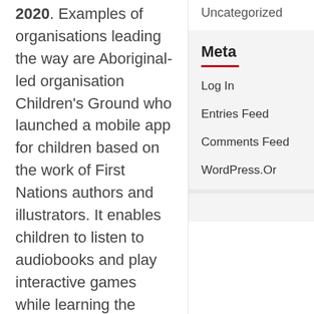2020. Examples of organisations leading the way are Aboriginal-led organisation Children's Ground who launched a mobile app for children based on the work of First Nations authors and illustrators. It enables children to listen to audiobooks and play interactive games while learning the Arrernte language. Food rescue organisation Oz Harvest received over $300,000
Uncategorized
Meta
Log In
Entries Feed
Comments Feed
WordPress.Org